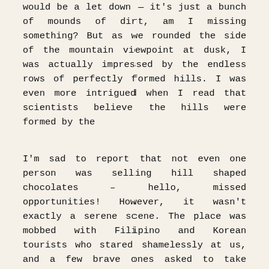would be a let down — it's just a bunch of mounds of dirt, am I missing something? But as we rounded the side of the mountain viewpoint at dusk, I was actually impressed by the endless rows of perfectly formed hills. I was even more intrigued when I read that scientists believe the hills were formed by the
I'm sad to report that not even one person was selling hill shaped chocolates – hello, missed opportunities! However, it wasn't exactly a serene scene. The place was mobbed with Filipino and Korean tourists who stared shamelessly at us, and a few brave ones asked to take pictures with us. Also, someone who I would really, really like to meet alone in a dark alley someday decided to build a massive gong at the viewpoint, which was rung with fervor